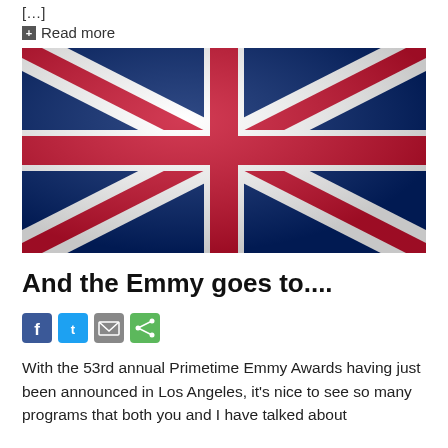[…]
⊞ Read more
[Figure (photo): UK Union Jack flag waving, rendered with fabric texture, red, white, and blue colors.]
And the Emmy goes to....
[Figure (infographic): Social sharing icons: Facebook (blue), Twitter (blue), Email (grey), Share (green)]
With the 53rd annual Primetime Emmy Awards having just been announced in Los Angeles, it's nice to see so many programs that both you and I have talked about